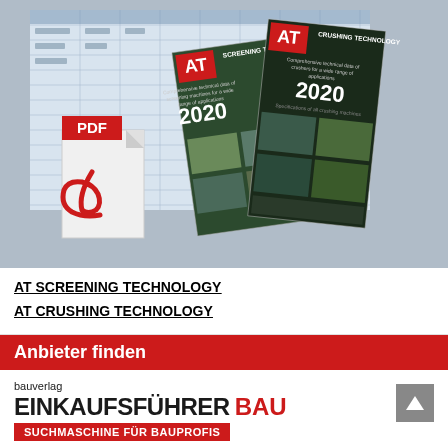[Figure (illustration): Composite image showing a spreadsheet on a computer screen background, a PDF icon with Acrobat logo, and two AT technology magazine covers (AT Screening Technology 2020 and AT Crushing Technology 2020)]
AT SCREENING TECHNOLOGY
AT CRUSHING TECHNOLOGY
Anbieter finden
[Figure (logo): Bauverlag Einkaufsführer BAU logo with red banner reading SUCHMASCHINE FÜR BAUPROFIS]
Finden Sie mehr als 4.000 Anbieter im EINKAUFSFÜHRER